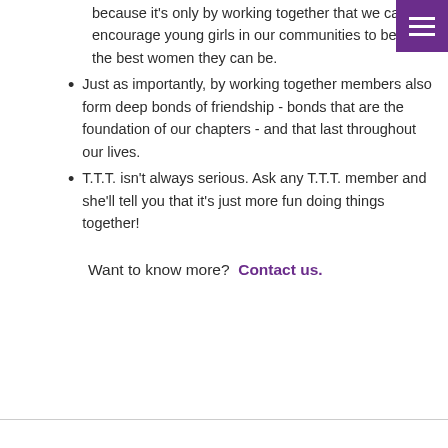because it's only by working together that we can encourage young girls in our communities to become the best women they can be.
Just as importantly, by working together members also form deep bonds of friendship - bonds that are the foundation of our chapters - and that last throughout our lives.
T.T.T. isn't always serious.  Ask any T.T.T. member and she'll tell you that it's just more fun doing things together!
Want to know more?  Contact us.